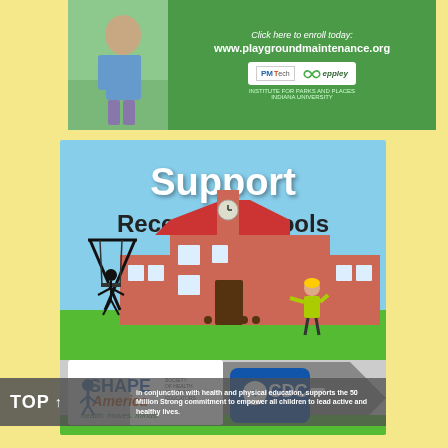[Figure (infographic): Banner advertisement for www.playgroundmaintenance.org with child on playground, PMTech and Eppley logos, green background with text 'Click here to enroll today: www.playgroundmaintenance.org']
[Figure (infographic): Support Recess in Schools infographic showing a school building with swing set, a figure of a child/teacher, a road/path, SHAPE America and CDC logos, with text 'Support Recess in Schools' and 'in conjunction with health and physical education, supports the 50 Million Strong commitment to empower all children to lead active and healthy lives.']
TOP
in conjunction with health and physical education, supports the 50 Million Strong commitment to empower all children to lead active and healthy lives.